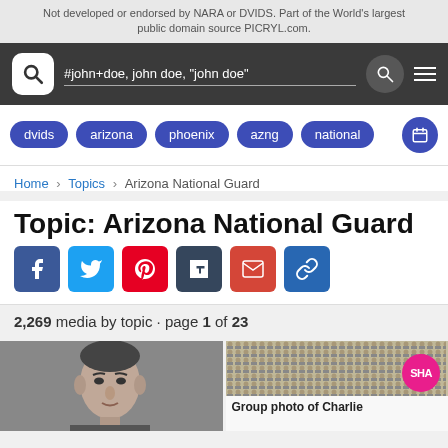Not developed or endorsed by NARA or DVIDS. Part of the World's largest public domain source PICRYL.com.
[Figure (screenshot): PICRYL search bar with logo, search text '#john+doe, john doe, "john doe"', search icon button, and hamburger menu on dark background]
dvids  arizona  phoenix  azng  national  [calendar icon]
Home > Topics > Arizona National Guard
Topic: Arizona National Guard
[Figure (infographic): Social share buttons: Facebook (blue), Twitter (light blue), Pinterest (red), Tumblr (dark), Gmail (red-orange), Link (blue)]
2,269 media by topic · page 1 of 23
[Figure (photo): Black and white portrait photograph of a man]
[Figure (photo): Historical group photo of Charlie [truncated], with SHA badge overlay]